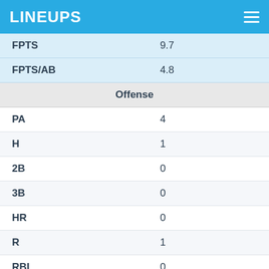LINEUPS
| Stat | Value |
| --- | --- |
| FPTS | 9.7 |
| FPTS/AB | 4.8 |
| Offense |  |
| PA | 4 |
| H | 1 |
| 2B | 0 |
| 3B | 0 |
| HR | 0 |
| R | 1 |
| RBI | 0 |
| SB | 0 |
| CS | 0 |